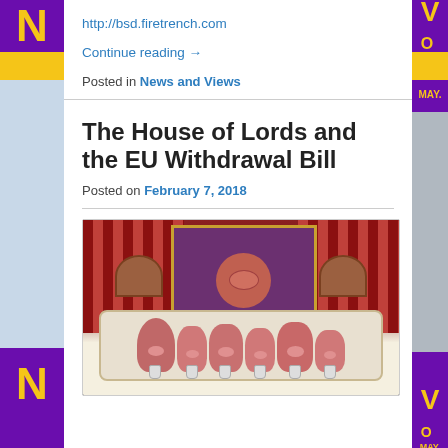http://bsd.firetrench.com
Continue reading →
Posted in News and Views
The House of Lords and the EU Withdrawal Bill
Posted on February 7, 2018
[Figure (illustration): Cartoon illustration of anthropomorphic pigs in formal attire seated at a dinner table, resembling a scene from Animal Farm. Red curtains frame the scene, with a portrait in the background.]